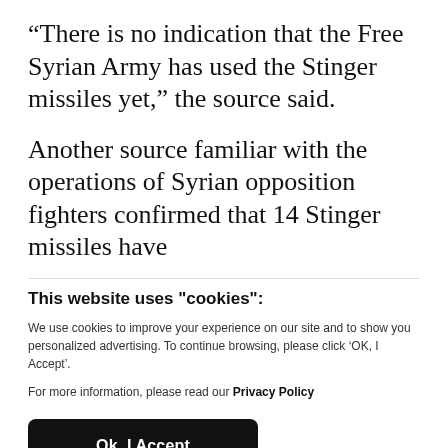“There is no indication that the Free Syrian Army has used the Stinger missiles yet,” the source said.
Another source familiar with the operations of Syrian opposition fighters confirmed that 14 Stinger missiles have
This website uses "cookies":
We use cookies to improve your experience on our site and to show you personalized advertising. To continue browsing, please click ‘OK, I Accept’.
For more information, please read our Privacy Policy
Ok, I Accept